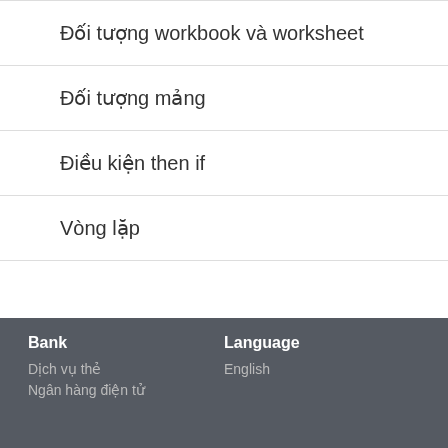Đối tượng workbook và worksheet
Đối tượng mảng
Điều kiện then if
Vòng lặp
Fanpage Facebook
Bank | Dịch vụ thẻ | Ngân hàng điện tử | Language | English